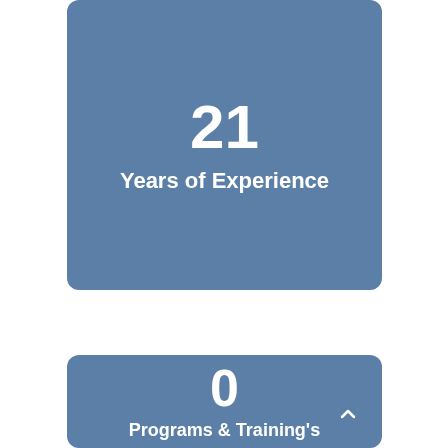[Figure (infographic): Blue rounded card showing '21' in large bold white text with 'Years of Experience' label below]
[Figure (infographic): Blue rounded card showing '0' in large bold white text with 'Programs & Training's' label below, with a scroll-to-top button in the bottom right corner]